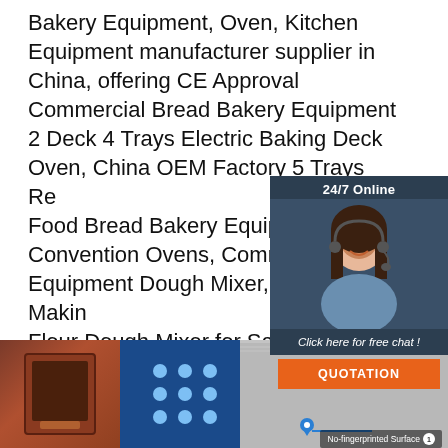Bakery Equipment, Oven, Kitchen Equipment manufacturer supplier in China, offering CE Approval Commercial Bread Bakery Equipment 2 Deck 4 Trays Electric Baking Deck Oven, China OEM Factory 5 Trays Re Food Bread Bakery Equipment Gas H Convention Ovens, Commercial Bake Equipment Dough Mixer, Bread Makin Flour Dough Mixer for Sale and so on.
[Figure (photo): 24/7 Online chat widget with a woman wearing a headset, dark background, orange QUOTATION button]
[Figure (illustration): Orange dotted triangle TOP icon]
[Figure (photo): Get Price orange button]
[Figure (photo): Bottom bar showing bakery equipment images including an oven door, blue LED panel, and stainless steel surface with No-fingerprinted Surface label]